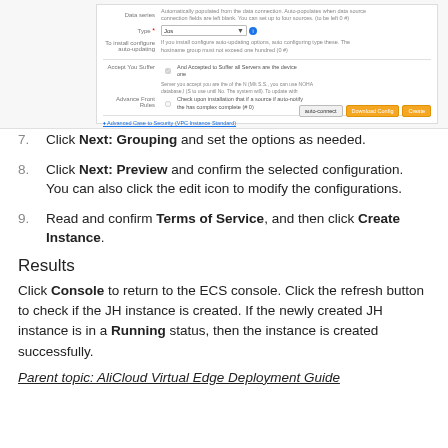[Figure (screenshot): A form screenshot showing configuration fields including data series, type selection with dropdown, checkboxes for 'Accept You Suffer' and 'Advance Front Rules', a textarea region, and action buttons (gray, orange, orange) at the bottom right.]
7. Click Next: Grouping and set the options as needed.
8. Click Next: Preview and confirm the selected configuration. You can also click the edit icon to modify the configurations.
9. Read and confirm Terms of Service, and then click Create Instance.
Results
Click Console to return to the ECS console. Click the refresh button to check if the JH instance is created. If the newly created JH instance is in a Running status, then the instance is created successfully.
Parent topic: AliCloud Virtual Edge Deployment Guide